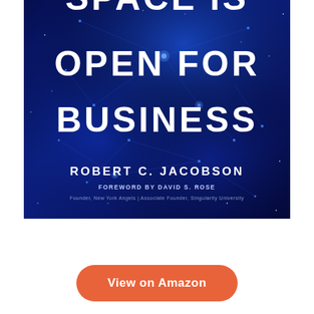[Figure (illustration): Book cover of 'Space Is Open For Business' by Robert C. Jacobson. Dark blue background with glowing digital/network imagery of space shuttle and astronaut silhouettes connected by blue light lines and dots. Large white bold title text reads 'SPACE IS OPEN FOR BUSINESS'. Author name 'ROBERT C. JACOBSON' appears near the bottom. Foreword credit 'FOREWORD BY DAVID S. ROSE' with subtitle 'Founder, New York Angels | Associate Founder, Singularity University'.]
View on Amazon